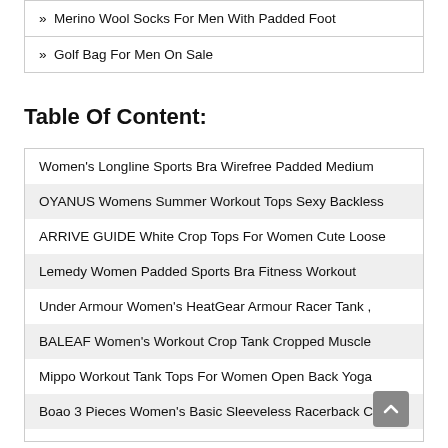» Merino Wool Socks For Men With Padded Foot
» Golf Bag For Men On Sale
Table Of Content:
Women's Longline Sports Bra Wirefree Padded Medium
OYANUS Womens Summer Workout Tops Sexy Backless
ARRIVE GUIDE White Crop Tops For Women Cute Loose
Lemedy Women Padded Sports Bra Fitness Workout
Under Armour Women's HeatGear Armour Racer Tank ,
BALEAF Women's Workout Crop Tank Cropped Muscle
Mippo Workout Tank Tops For Women Open Back Yoga
Boao 3 Pieces Women's Basic Sleeveless Racerback Crop
Workout Crop Tops For Women Short Sleeve Gym Shirts
Porvike Sports Crop Tank Tops For Women Cropped